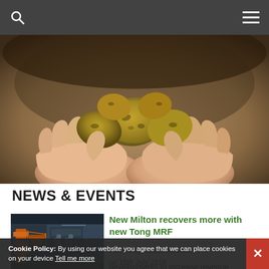Navigation bar with search and menu icons
[Figure (photo): Hands holding several large dirt-covered potatoes against a blurred outdoor background]
NEWS & EVENTS
[Figure (photo): Interior of a warehouse/factory with orange industrial recycling equipment and stairs]
New Milton recovers more with new Tong MRF
Posted by Carole Metcalfe
on 18th July 2016
developments to increase revenue
Cookie Policy: By using our website you agree that we can place cookies on your device Tell me more